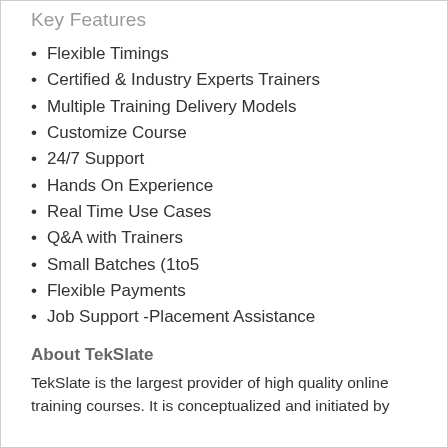Key Features
Flexible Timings
Certified & Industry Experts Trainers
Multiple Training Delivery Models
Customize Course
24/7 Support
Hands On Experience
Real Time Use Cases
Q&A with Trainers
Small Batches (1to5
Flexible Payments
Job Support -Placement Assistance
About TekSlate
TekSlate is the largest provider of high quality online training courses. It is conceptualized and initiated by